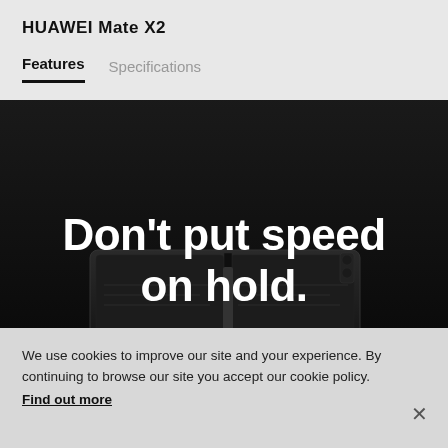HUAWEI Mate X2
Features   Specifications
[Figure (photo): Huawei Mate X2 foldable smartphone shown from above in a dark scene with the text 'Don't put speed on hold.' overlaid in large white bold font.]
We use cookies to improve our site and your experience. By continuing to browse our site you accept our cookie policy.
Find out more